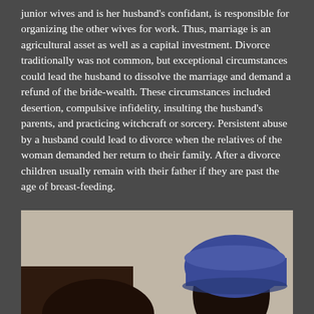junior wives and is her husband's confidant, is responsible for organizing the other wives for work. Thus, marriage is an agricultural asset as well as a capital investment. Divorce traditionally was not common, but exceptional circumstances could lead the husband to dissolve the marriage and demand a refund of the bride-wealth. These circumstances included desertion, compulsive infidelity, insulting the husband's parents, and practicing witchcraft or sorcery. Persistent abuse by a husband could lead to divorce when the relatives of the woman demanded her return to their family. After a divorce children usually remain with their father if they are past the age of breast-feeding.
[Figure (photo): A photograph showing a person wearing a blue hat, with an arm visible in the foreground, against a light beige/grey wall background.]